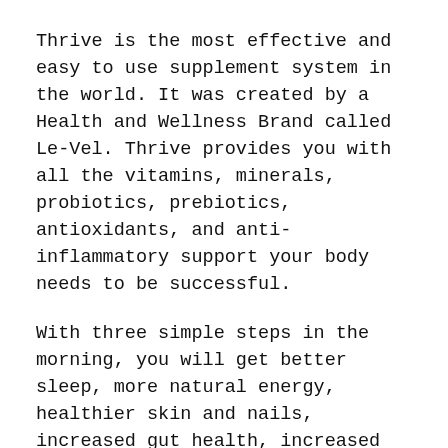Thrive is the most effective and easy to use supplement system in the world. It was created by a Health and Wellness Brand called Le-Vel. Thrive provides you with all the vitamins, minerals, probiotics, prebiotics, antioxidants, and anti-inflammatory support your body needs to be successful.
With three simple steps in the morning, you will get better sleep, more natural energy, healthier skin and nails, increased gut health, increased immune strength, increased mental clarity, as well as joint support.
30 SUPER SIMPLE RECIPES THAT ARE HEALTHY AND TASTE GREAT
Making healthy meals can be a headache to figure out especially after a workout. Having the guide I'm throwing in points you in the right direction, but these power-